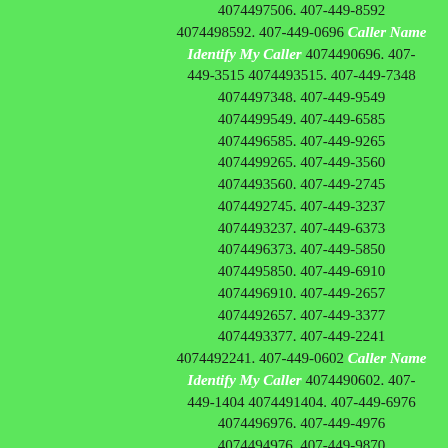4074497506. 407-449-8592 4074498592. 407-449-0696 Caller Name Identify My Caller 4074490696. 407-449-3515 4074493515. 407-449-7348 4074497348. 407-449-9549 4074499549. 407-449-6585 4074496585. 407-449-9265 4074499265. 407-449-3560 4074493560. 407-449-2745 4074492745. 407-449-3237 4074493237. 407-449-6373 4074496373. 407-449-5850 4074495850. 407-449-6910 4074496910. 407-449-2657 4074492657. 407-449-3377 4074493377. 407-449-2241 4074492241. 407-449-0602 Caller Name Identify My Caller 4074490602. 407-449-1404 4074491404. 407-449-6976 4074496976. 407-449-4976 4074494976. 407-449-9870 4074499870. 407-449-2156 4074492156. 407-449-9842 4074499842. 407-449-1483 4074491483. 407-449-4916 4074494916. 407-449-4444